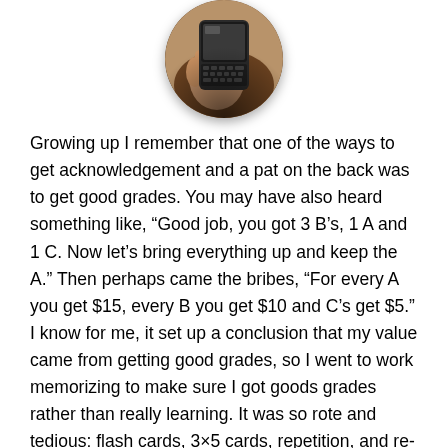[Figure (photo): Circular cropped photo of a hand holding a BlackBerry smartphone/PDA device, showing the keyboard. The image has a globe-like spherical appearance with a dark shadow at the bottom.]
Growing up I remember that one of the ways to get acknowledgement and a pat on the back was to get good grades. You may have also heard something like, “Good job, you got 3 B’s, 1 A and 1 C. Now let’s bring everything up and keep the A.” Then perhaps came the bribes, “For every A you get $15, every B you get $10 and C’s get $5.” I know for me, it set up a conclusion that my value came from getting good grades, so I went to work memorizing to make sure I got goods grades rather than really learning. It was so rote and tedious: flash cards, 3×5 cards, repetition, and re-reading, re-writing notes. I remember having to